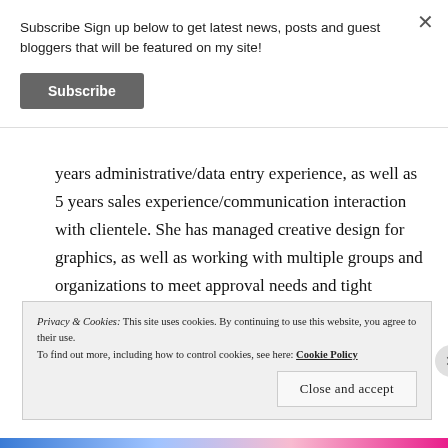Subscribe Sign up below to get latest news, posts and guest bloggers that will be featured on my site!
Subscribe
years administrative/data entry experience, as well as 5 years sales experience/communication interaction with clientele. She has managed creative design for graphics, as well as working with multiple groups and organizations to meet approval needs and tight deadlines across contracts. She has both tactical and strategic
Privacy & Cookies: This site uses cookies. By continuing to use this website, you agree to their use.
To find out more, including how to control cookies, see here: Cookie Policy
Close and accept